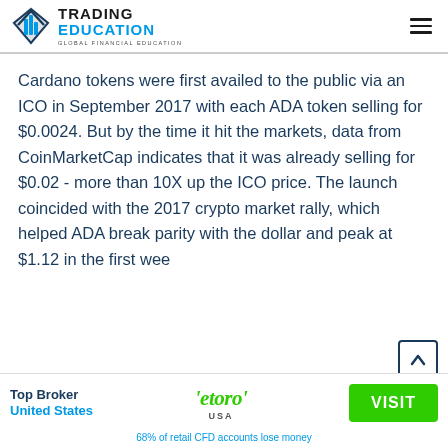Trading Education — Global Financial Education
Cardano tokens were first availed to the public via an ICO in September 2017 with each ADA token selling for $0.0024. But by the time it hit the markets, data from CoinMarketCap indicates that it was already selling for $0.02 - more than 10X up the ICO price. The launch coincided with the 2017 crypto market rally, which helped ADA break parity with the dollar and peak at $1.12 in the first wee[k of] January 2018.
[Figure (logo): eToro USA broker advertisement with Visit button. Text: Top Broker United States. 68% of retail CFD accounts lose money.]